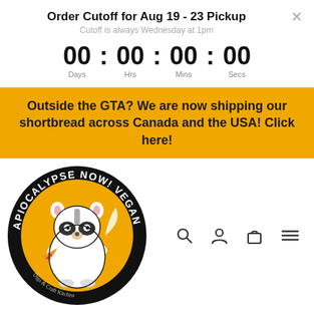Order Cutoff for Aug 19 - 23 Pickup
Cutoff is always Wednesday at 1pm
00 : 00 : 00 : 00
Days  Hrs  Mins  Secs
Outside the GTA? We are now shipping our shortbread across Canada and the USA! Click here!
[Figure (logo): Circular logo for Apiocalypse Now! Vegan featuring a raccoon eating pizza on an orange background with black border text reading APIOCALYPSE NOW! VEGAN]